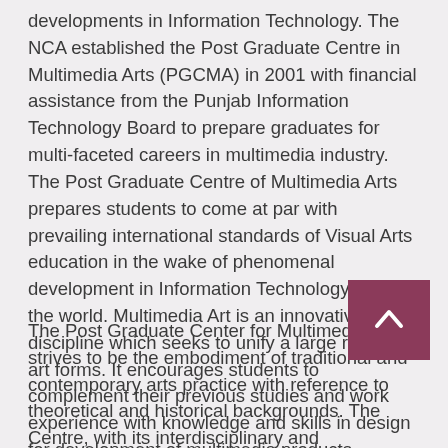developments in Information Technology. The NCA established the Post Graduate Centre in Multimedia Arts (PGCMA) in 2001 with financial assistance from the Punjab Information Technology Board to prepare graduates for multi-faceted careers in multimedia industry. The Post Graduate Centre of Multimedia Arts prepares students to come at par with prevailing international standards of Visual Arts education in the wake of phenomenal development in Information Technology all over the world. Multimedia Art is an innovative discipline which seeks to unify a large range of art forms. It encourages students to complement their previous studies and work experience with knowledge and skills in design for development of multimedia products.
The Post Graduate Center for Multimedia Arts strives to be the embodiment of traditional and contemporary arts practice with reference to theoretical and historical backgrounds. The Centre, with its interdisciplinary and